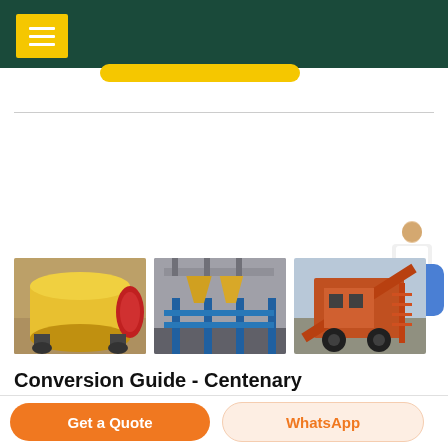[Figure (photo): Three industrial mining/crushing equipment photos: a yellow ball mill, yellow industrial processing equipment with blue scaffolding, and orange heavy machinery at a site]
Conversion Guide - Centenary Landscaping Supplies
For example, if you needed 3m 3 River Pebble
Get a Quote
WhatsApp